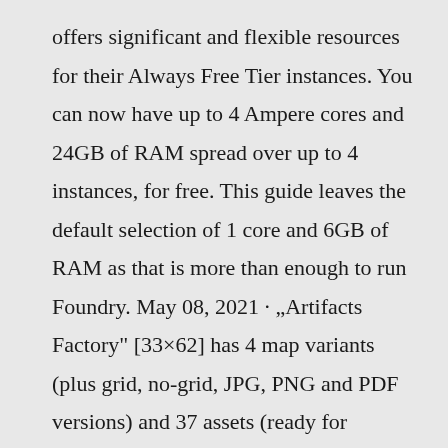offers significant and flexible resources for their Always Free Tier instances. You can now have up to 4 Ampere cores and 24GB of RAM spread over up to 4 instances, for free. This guide leaves the default selection of 1 core and 6GB of RAM as that is more than enough to run Foundry. May 08, 2021 · „Artifacts Factory" [33×62] has 4 map variants (plus grid, no-grid, JPG, PNG and PDF versions) and 37 assets (ready for